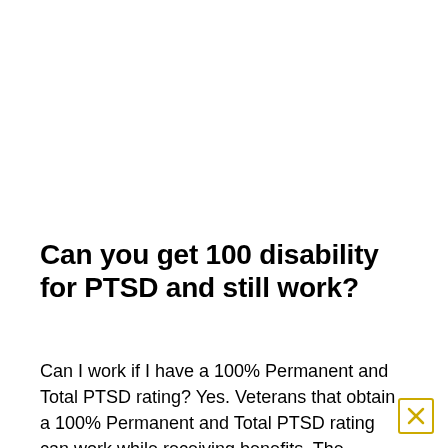Can you get 100 disability for PTSD and still work?
Can I work if I have a 100% Permanent and Total PTSD rating? Yes. Veterans that obtain a 100% Permanent and Total PTSD rating can work while receiving benefits. The confusion over this issue is due to individual income disability benefits which